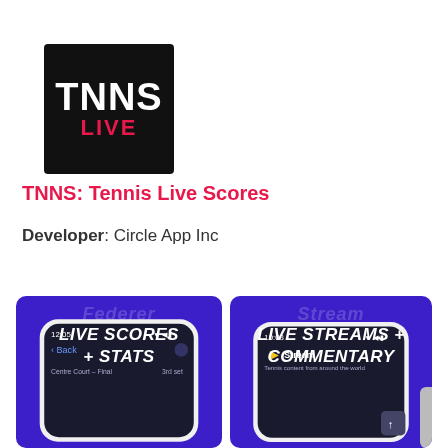[Figure (logo): TNNS LIVE app logo — black background with white bold text TNNS and red text LIVE below]
TNNS: Tennis Live Scores
Developer: Circle App Inc
[Figure (screenshot): App screenshot showing purple background with text LIVE SCORES + STATS and a phone mockup]
[Figure (screenshot): App screenshot showing purple background with text LIVE STREAMS + COMMENTARY and a phone mockup]